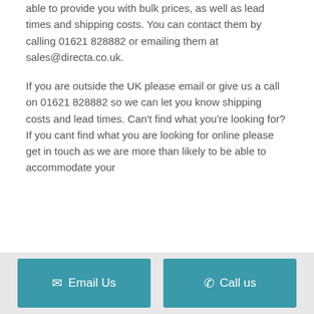able to provide you with bulk prices, as well as lead times and shipping costs. You can contact them by calling 01621 828882 or emailing them at sales@directa.co.uk.
If you are outside the UK please email or give us a call on 01621 828882 so we can let you know shipping costs and lead times. Can't find what you're looking for? If you cant find what you are looking for online please get in touch as we are more than likely to be able to accommodate your
✉ Email Us
✆ Call us